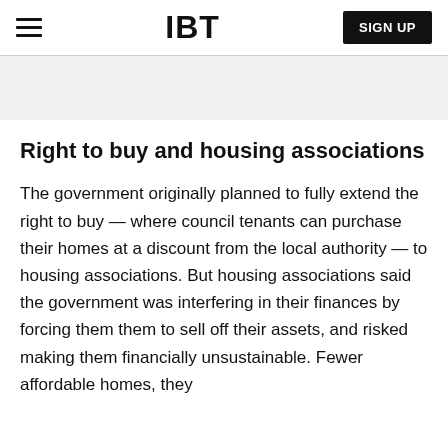IBT | SIGN UP
Right to buy and housing associations
The government originally planned to fully extend the right to buy — where council tenants can purchase their homes at a discount from the local authority — to housing associations. But housing associations said the government was interfering in their finances by forcing them them to sell off their assets, and risked making them financially unsustainable. Fewer affordable homes, they